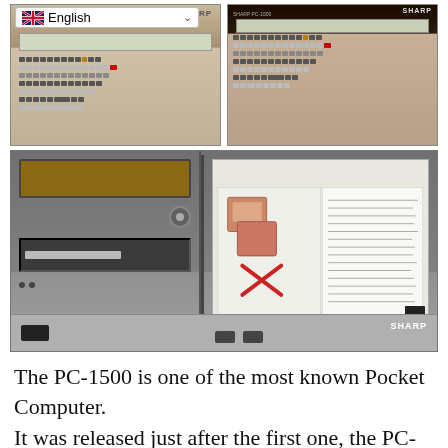[Figure (photo): Two Sharp PC-1500 pocket computers shown side by side from above, with a language selector dropdown showing English with UK flag visible on the left unit]
[Figure (photo): A Sharp peripheral device (color plotter/printer unit) shown from the front, with LCD display, disk slot on left panel and instruction card on right panel]
The PC-1500 is one of the most known Pocket Computer.
It was released just after the first one, the PC-1211, with a unique extension, a small colour plotter.
Plotter stepper motors are directly driven by